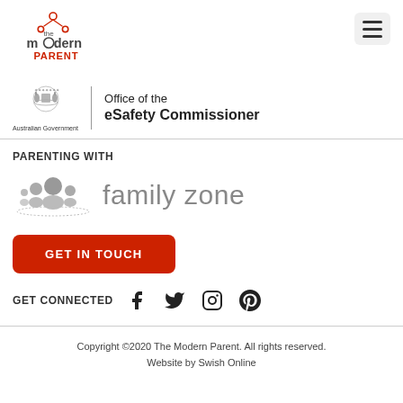[Figure (logo): The Modern Parent logo - red and dark grey text with network node icon]
[Figure (logo): Australian Government / Office of the eSafety Commissioner banner logo]
PARENTING WITH
[Figure (logo): Family Zone logo - grey silhouette people icons with 'family zone' text]
GET IN TOUCH
GET CONNECTED with Facebook, Twitter, Instagram, Pinterest social icons
Copyright ©2020 The Modern Parent. All rights reserved. Website by Swish Online